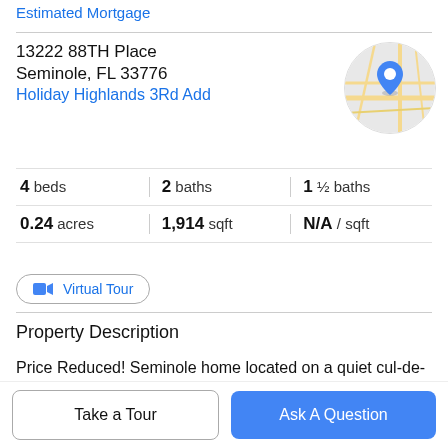Estimated Mortgage
13222 88TH Place
Seminole, FL 33776
Holiday Highlands 3Rd Add
[Figure (map): Circular map thumbnail showing street map with blue location pin marker]
4 beds | 2 baths | 1 ½ baths
0.24 acres | 1,914 sqft | N/A / sqft
Virtual Tour
Property Description
Price Reduced! Seminole home located on a quiet cul-de-sac! This 4 Bedroom 2.5 bath features a very popular floor
Take a Tour
Ask A Question